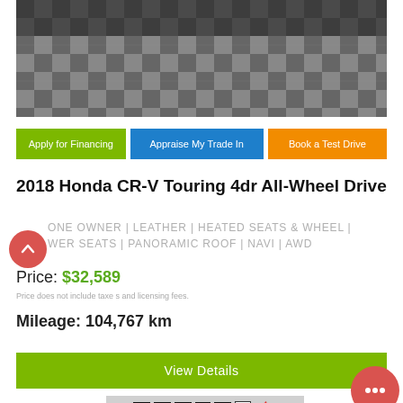[Figure (photo): Top portion of a car photo showing a vehicle on a checkered garage floor, partially cropped]
Apply for Financing
Appraise My Trade In
Book a Test Drive
2018 Honda CR-V Touring 4dr All-Wheel Drive
ONE OWNER | LEATHER | HEATED SEATS & WHEEL | POWER SEATS | PANORAMIC ROOF | NAVI | AWD
Price: $32,589
Price does not include taxes and licensing fees.
Mileage: 104,767 km
View Details
[Figure (logo): CARFAX Canada logo with maple leaf and VIEW REPORT text below]